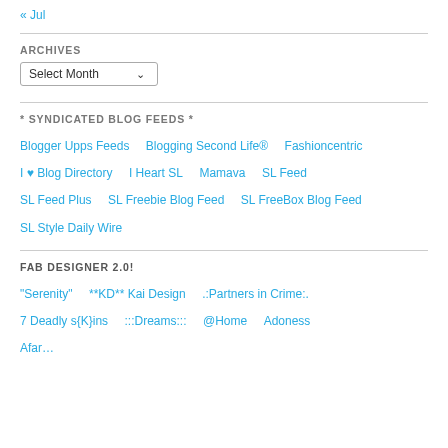« Jul
ARCHIVES
Select Month
* SYNDICATED BLOG FEEDS *
Blogger Upps Feeds
Blogging Second Life®
Fashioncentric
I ♥ Blog Directory
I Heart SL
Mamava
SL Feed
SL Feed Plus
SL Freebie Blog Feed
SL FreeBox Blog Feed
SL Style Daily Wire
FAB DESIGNER 2.0!
"Serenity"
**KD** Kai Design
.:Partners in Crime:.
7 Deadly s{K}ins
:::Dreams:::
@Home
Adoness